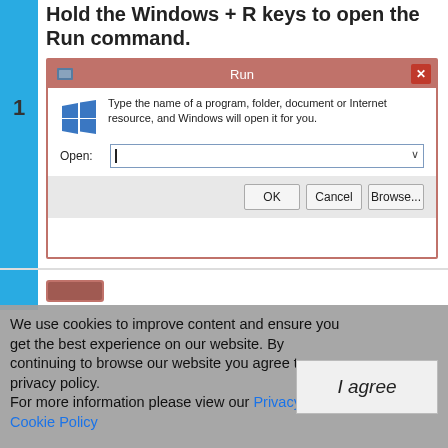Hold the Windows + R keys to open the Run command.
[Figure (screenshot): Windows Run dialog box showing icon, description text 'Type the name of a program, folder, document or Internet resource, and Windows will open it for you.', an Open: text input field, and OK, Cancel, Browse... buttons.]
We use cookies to improve content and ensure you get the best experience on our website. By continuing to browse our website you agree to our privacy policy.
For more information please view our Privacy & Cookie Policy